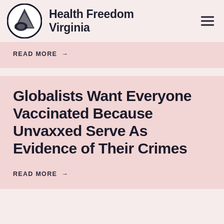Health Freedom Virginia
READ MORE →
Globalists Want Everyone Vaccinated Because Unvaxxed Serve As Evidence of Their Crimes
READ MORE →